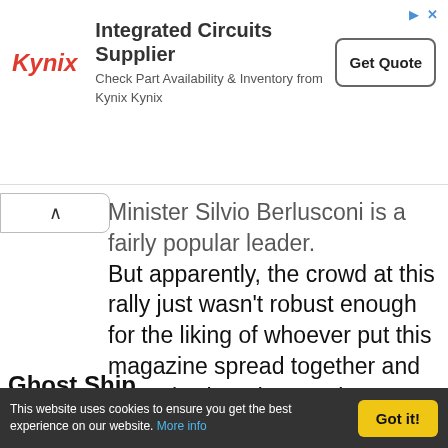[Figure (screenshot): Kynix Integrated Circuits Supplier advertisement banner with logo, text 'Check Part Availability & Inventory from Kynix Kynix', and 'Get Quote' button]
Minister Silvio Berlusconi is a fairly popular leader. But apparently, the crowd at this rally just wasn't robust enough for the liking of whoever put this magazine spread together and not only cloned several groups of onlookers, but placed a fake bouquet of roses in Berlusconi's hand.
Ghost Ship
[Figure (screenshot): Website screenshot showing navigation tabs (gos, The Islands, Explorer II [active], Commitment, Before your trip, Info and r...) and a cruise ship photo against rocky cliffs.]
This website uses cookies to ensure you get the best experience on our website. More info